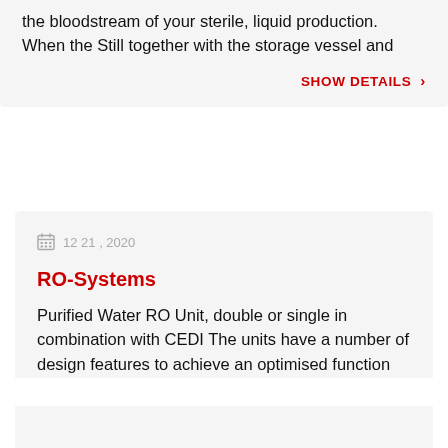the bloodstream of your sterile liquid production. When the Still together with the storage vessel and
SHOW DETAILS ›
12 21 , 2020
RO-Systems
Purified Water RO Unit, double or single in combination with CEDI The units have a number of design features to achieve an optimised function and
SHOW DETAILS ›